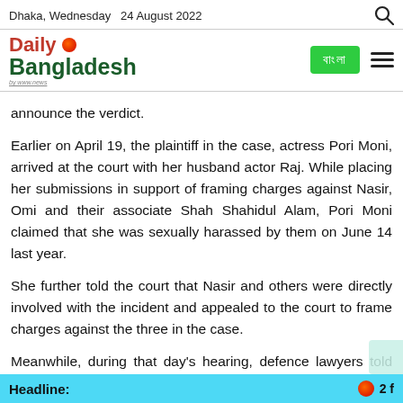Dhaka, Wednesday  24 August 2022
[Figure (logo): Daily Bangladesh newspaper logo with red 'Daily' text, green 'Bangladesh' text, and orange globe icon]
announce the verdict.
Earlier on April 19, the plaintiff in the case, actress Pori Moni, arrived at the court with her husband actor Raj. While placing her submissions in support of framing charges against Nasir, Omi and their associate Shah Shahidul Alam, Pori Moni claimed that she was sexually harassed by them on June 14 last year.
She further told the court that Nasir and others were directly involved with the incident and appealed to the court to frame charges against the three in the case.
Meanwhile, during that day's hearing, defence lawyers told the tribunal that their clients were implicated in the case
Headline:   2 f